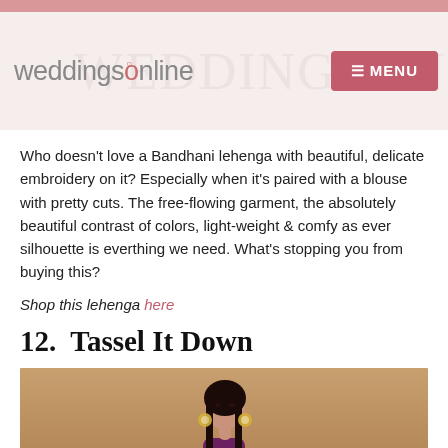weddingsonline  MENU
Who doesn't love a Bandhani lehenga with beautiful, delicate embroidery on it? Especially when it's paired with a blouse with pretty cuts. The free-flowing garment, the absolutely beautiful contrast of colors, light-weight & comfy as ever silhouette is everthing we need. What's stopping you from buying this?
Shop this lehenga here
12.  Tassel It Down
[Figure (photo): A woman model with long dark hair and large earrings wearing a deep purple/maroon lehenga, photographed against a warm tan/beige background.]